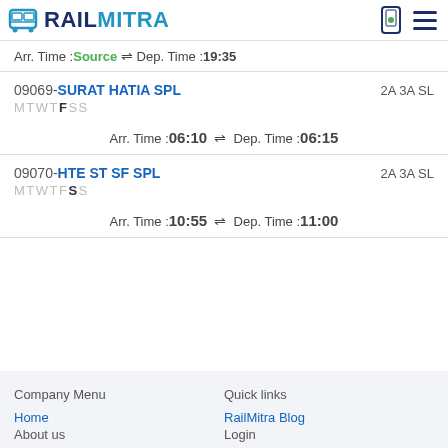RAILMITRA
Arr. Time :Source ⇌ Dep. Time :19:35
09069-SURAT HATIA SPL
MTWTFSS	2A 3A SL
Arr. Time :06:10 ⇌ Dep. Time :06:15
09070-HTE ST SF SPL
MTWTFSS	2A 3A SL
Arr. Time :10:55 ⇌ Dep. Time :11:00
Company Menu
Quick links
Home
About us
RailMitra Blog
Login